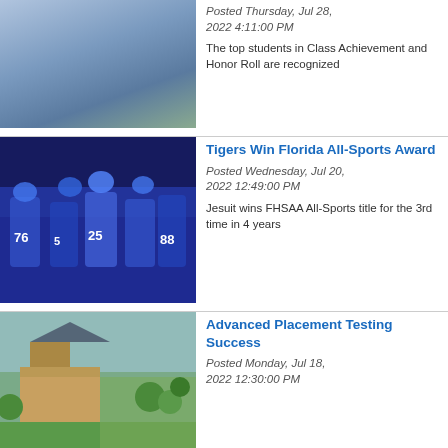[Figure (photo): Photo of a school campus with fountain area]
Posted Thursday, Jul 28, 2022 4:11:00 PM
The top students in Class Achievement and Honor Roll are recognized
[Figure (photo): Photo of football players in blue uniforms celebrating]
Tigers Win Florida All-Sports Award
Posted Wednesday, Jul 20, 2022 12:49:00 PM
Jesuit wins FHSAA All-Sports title for the 3rd time in 4 years
[Figure (photo): Aerial photo of school campus with buildings and athletic fields]
Advanced Placement Testing Success
Posted Monday, Jul 18, 2022 12:30:00 PM